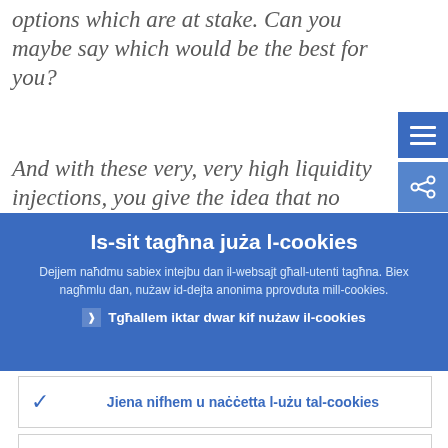options which are at stake. Can you maybe say which would be the best for you?
And with these very, very high liquidity injections, you give the idea that no solvent
Is-sit tagħna juża l-cookies
Dejjem naħdmu sabiex intejbu dan il-websajt għall-utenti tagħna. Biex nagħmlu dan, nużaw id-dejta anonima pprovduta mill-cookies.
❯ Tgħallem iktar dwar kif nużaw il-cookies
✓ Jiena nifhem u naċċetta l-użu tal-cookies
✗ Jiena ma naċċettax l-użu tal-cookies